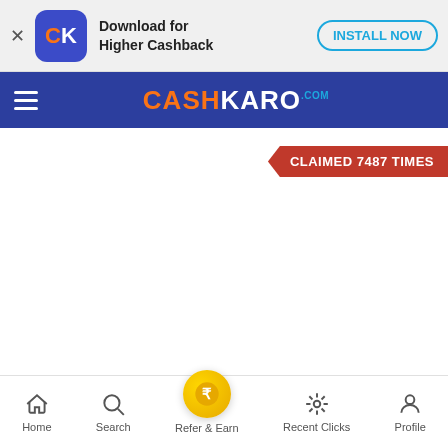Download for Higher Cashback — INSTALL NOW
CASHKARO.COM
CLAIMED 7487 TIMES
Home  Search  Refer & Earn  Recent Clicks  Profile